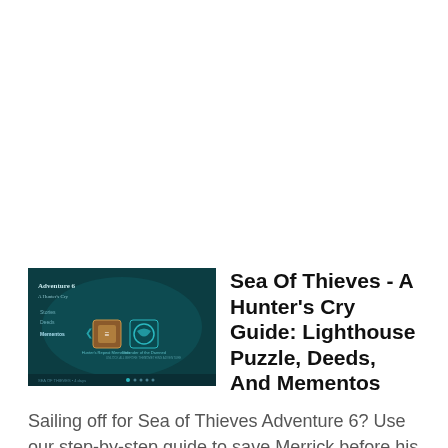[Figure (screenshot): Screenshot of Sea of Thieves Adventure 6 game menu screen showing 'Adventure 6: A Hunter's Cry' title with teal/dark oceanic themed UI, two mission options visible]
Sea Of Thieves - A Hunter's Cry Guide: Lighthouse Puzzle, Deeds, And Mementos
Sailing off for Sea of Thieves Adventure 6? Use our step-by-step guide to save Merrick before his time is up. READ MORE »